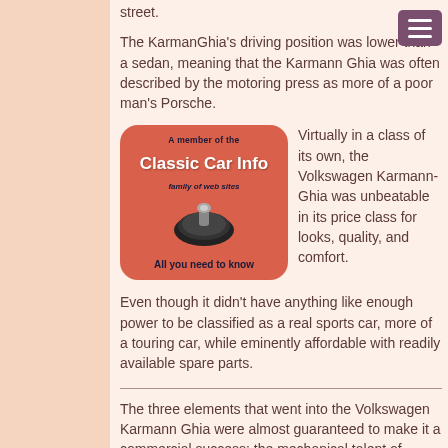street.
The KarmanGhia's driving position was lower than a sedan, meaning that the Karmann Ghia was often described by the motoring press as more of a poor man's Porsche.
[Figure (logo): Classic Car Info badge - orange rounded rectangle with text 'A member of the Classic Car Info family of web sites' and 'All you need to know', with a car part image]
Virtually in a class of its own, the Volkswagen Karmann-Ghia was unbeatable in its price class for looks, quality, and comfort.
Even though it didn't have anything like enough power to be classified as a real sports car, more of a touring car, while eminently affordable with readily available spare parts.
The three elements that went into the Volkswagen Karmann Ghia were almost guaranteed to make it a commercial success: the mechanical talent of Volkswagen, the coachbuilding skill of Karmann, and the futuristic design skills of Italian styling house Ghia.